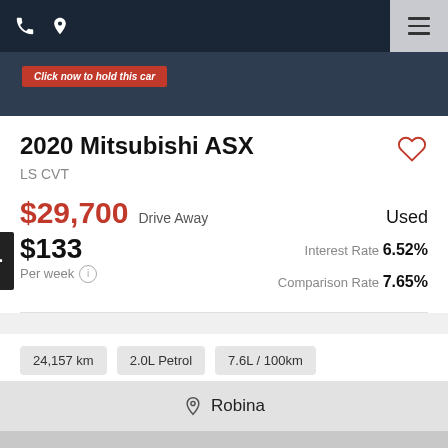Navigation bar with phone icon, location pin icon, and hamburger menu
2020 Mitsubishi ASX
LS CVT
$29,700 Drive Away   Used
$133 Per week   Interest Rate 6.52%   Comparison Rate 7.65%
24,157 km
2.0L Petrol
7.6L / 100km
Robina